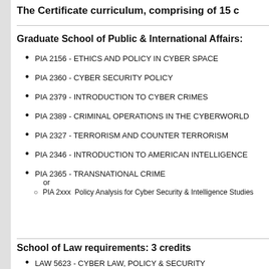The Certificate curriculum, comprising of 15 c
Graduate School of Public & International Affairs:
PIA 2156 - ETHICS AND POLICY IN CYBER SPACE
PIA 2360 - CYBER SECURITY POLICY
PIA 2379 - INTRODUCTION TO CYBER CRIMES
PIA 2389 - CRIMINAL OPERATIONS IN THE CYBERWORLD
PIA 2327 - TERRORISM AND COUNTER TERRORISM
PIA 2346 - INTRODUCTION TO AMERICAN INTELLIGENCE
PIA 2365 - TRANSNATIONAL CRIME
or
  PIA 2xxx  Policy Analysis for Cyber Security & Intelligence Studies
School of Law requirements: 3 credits
LAW 5623 - CYBER LAW, POLICY & SECURITY